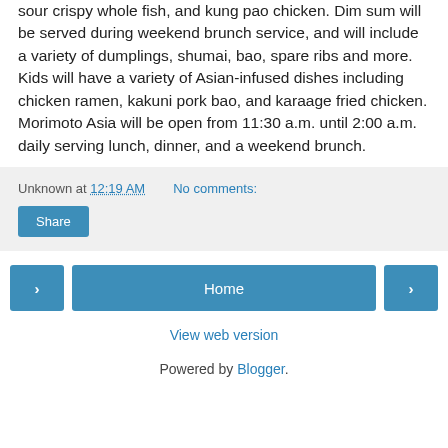sour crispy whole fish, and kung pao chicken. Dim sum will be served during weekend brunch service, and will include a variety of dumplings, shumai, bao, spare ribs and more. Kids will have a variety of Asian-infused dishes including chicken ramen, kakuni pork bao, and karaage fried chicken. Morimoto Asia will be open from 11:30 a.m. until 2:00 a.m. daily serving lunch, dinner, and a weekend brunch.
Unknown at 12:19 AM   No comments:
Share
< Home >
View web version
Powered by Blogger.